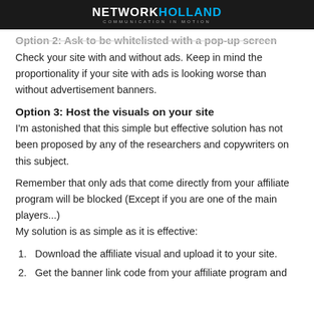NETWORK HOLLAND – COMMUNICATION IN MOTION
Option 2: Ask to be whitelisted with a pop-up screen
Check your site with and without ads. Keep in mind the proportionality if your site with ads is looking worse than without advertisement banners.
Option 3: Host the visuals on your site
I'm astonished that this simple but effective solution has not been proposed by any of the researchers and copywriters on this subject.
Remember that only ads that come directly from your affiliate program will be blocked (Except if you are one of the main players...)
My solution is as simple as it is effective:
1. Download the affiliate visual and upload it to your site.
2. Get the banner link code from your affiliate program and